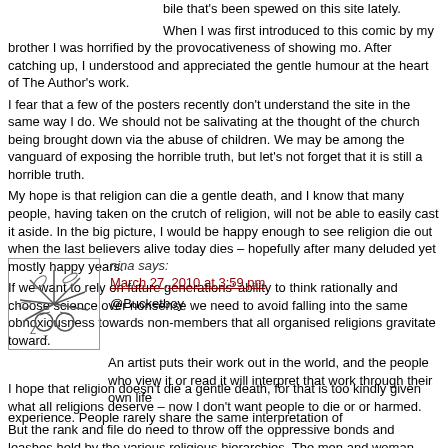bile that's been spewed on this site lately. When I was first introduced to this comic by my brother I was horrified by the provocativeness of showing mo. After catching up, I understood and appreciated the gentle humour at the heart of The Author's work. I fear that a few of the posters recently don't understand the site in the same way I do. We should not be salivating at the thought of the church being brought down via the abuse of children. We may be among the vanguard of exposing the horrible truth, but let's not forget that it is still a horrible truth. My hope is that religion can die a gentle death, and I know that many people, having taken on the crutch of religion, will not be able to easily cast it aside. In the big picture, I would be happy enough to see religion die out when the last believers alive today dies – hopefully after many deluded yet mostly happy years. If we want to rely on future generations' ability to think rationally and choose science over nonsense we need to avoid falling into the same obnoxiousness towards non-members that all organised religions gravitate toward.
nina says: March 27, 2010 at 3:59 pm
@Bucketboy
An artist puts their work out in the world, and the people who view it or read it will interpret that work through their own life experience. People rarely share the same interpretation of
I hope that religion doesn't die a gentle death, for that is too kindly given what all religions deserve – now I don't want people to die or or harmed.
But the rank and file do need to throw off the oppressive bonds and leashes held by the various religious hierarchies. The men and woman who lead